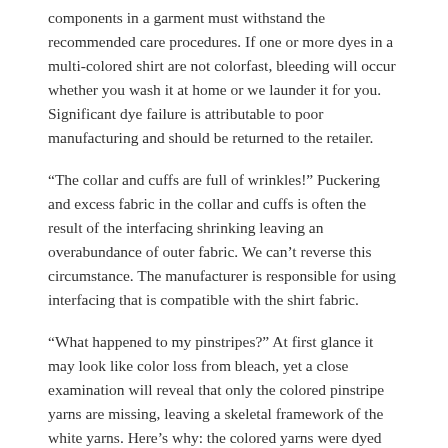components in a garment must withstand the recommended care procedures. If one or more dyes in a multi-colored shirt are not colorfast, bleeding will occur whether you wash it at home or we launder it for you. Significant dye failure is attributable to poor manufacturing and should be returned to the retailer.
“The collar and cuffs are full of wrinkles!” Puckering and excess fabric in the collar and cuffs is often the result of the interfacing shrinking leaving an overabundance of outer fabric. We can’t reverse this circumstance. The manufacturer is responsible for using interfacing that is compatible with the shirt fabric.
“What happened to my pinstripes?” At first glance it may look like color loss from bleach, yet a close examination will reveal that only the colored pinstripe yarns are missing, leaving a skeletal framework of the white yarns. Here’s why: the colored yarns were dyed with fiber-reactive or sulfurbased dyes